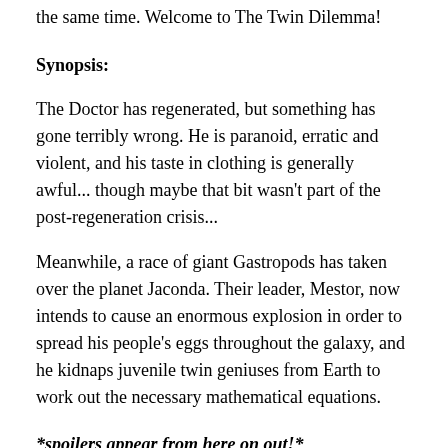the same time. Welcome to The Twin Dilemma!
Synopsis:
The Doctor has regenerated, but something has gone terribly wrong. He is paranoid, erratic and violent, and his taste in clothing is generally awful... though maybe that bit wasn't part of the post-regeneration crisis...
Meanwhile, a race of giant Gastropods has taken over the planet Jaconda. Their leader, Mestor, now intends to cause an enormous explosion in order to spread his people's eggs throughout the galaxy, and he kidnaps juvenile twin geniuses from Earth to work out the necessary mathematical equations.
*spoilers appear from here on out!*